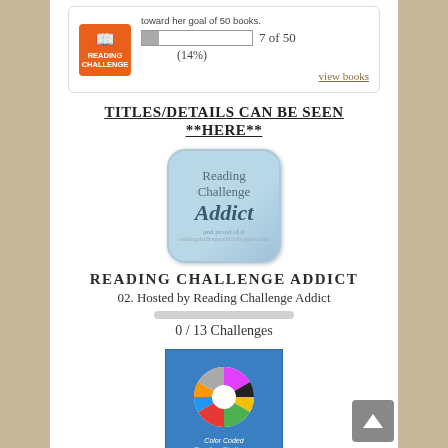[Figure (infographic): Reading Challenge widget showing orange logo with book icon, progress bar showing 7 of 50 (14%), and view books link]
TITLES/DETAILS CAN BE SEEN **HERE**
[Figure (illustration): Reading Challenge Addict badge - rounded square with blue-grey gradient background, text reading 'Reading Challenge Addict and proud of it']
READING CHALLENGE ADDICT
02. Hosted by Reading Challenge Addict
0 / 13 Challenges
[Figure (illustration): Color Coded Reading Challenge image - blue square with colorful pinwheel/color wheel logo and text 'Color Coded Reading Challenge']
COLOR CODED
03. Hosted by My Reader's Block